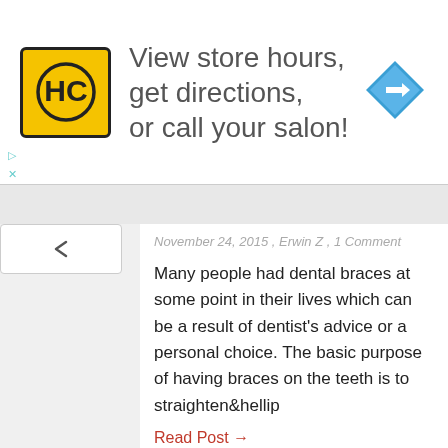[Figure (logo): HC Salon logo in yellow square with navigation map icon advertisement banner reading 'View store hours, get directions, or call your salon!']
November 24, 2015 , Erwin Z , 1 Comment
Many people had dental braces at some point in their lives which can be a result of dentist's advice or a personal choice. The basic purpose of having braces on the teeth is to straighten&hellip
Read Post →
Benefits of Brushing Hair
November 17, 2015 , Erwin Z , Comment Closed
Hair-brushing is a common ritual for many